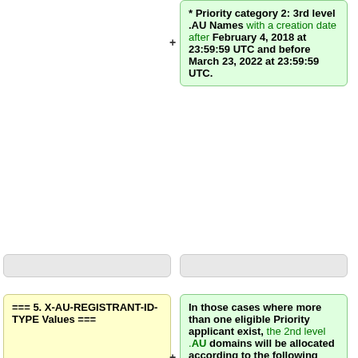* Priority category 2: 3rd level .AU Names with a creation date after February 4, 2018 at 23:59:59 UTC and before March 23, 2022 at 23:59:59 UTC.
=== 5. X-AU-REGISTRANT-ID-TYPE Values ===
In those cases where more than one eligible Priority applicant exist, the 2nd level .AU domains will be allocated according to the following criteria:
Previously, ABN, ACN, RBN or TM were accepted for X-AU-REGISTRANT-ID-TYPE. Please note that RBN will NO LONGER BE
* Where there are Category 1 and Category 2 applicants, Category 1 applicants have priority over Category 2 applicants.